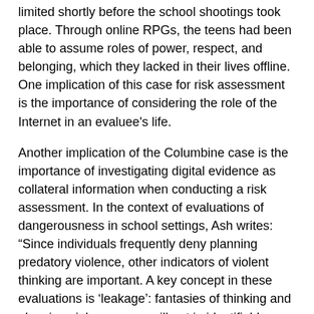limited shortly before the school shootings took place. Through online RPGs, the teens had been able to assume roles of power, respect, and belonging, which they lacked in their lives offline. One implication of this case for risk assessment is the importance of considering the role of the Internet in an evaluee's life.
Another implication of the Columbine case is the importance of investigating digital evidence as collateral information when conducting a risk assessment. In the context of evaluations of dangerousness in school settings, Ash writes: “Since individuals frequently deny planning predatory violence, other indicators of violent thinking are important. A key concept in these evaluations is ‘leakage’: fantasies of thinking and planning violence may spill out in identifiable ways. These can include talking about a fascination with weapons and assassinations with peers, diaries or other written communications, drawing, internet chatting on violence-related themes, veiled threats expressed to peers, and so forth [Ref. 91, p 465, emphasis added].”